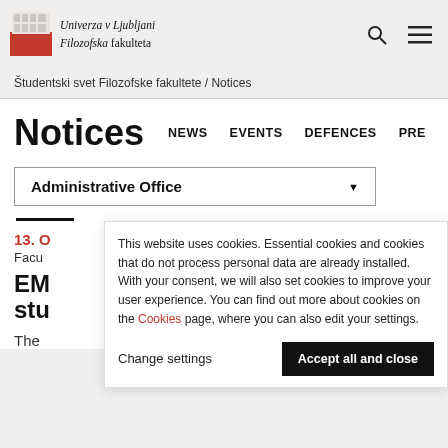[Figure (logo): Univerza v Ljubljani Filozofska fakulteta logo with building image and red square]
Univerza v Ljubljani Filozofska fakulteta
Študentski svet Filozofske fakultete / Notices
Notices
NEWS   EVENTS   DEFENCES   PRE
Administrative Office
13. O
Facu
EM
stu
The
This website uses cookies. Essential cookies and cookies that do not process personal data are already installed. With your consent, we will also set cookies to improve your user experience. You can find out more about cookies on the Cookies page, where you can also edit your settings.
Change settings
Accept all and close